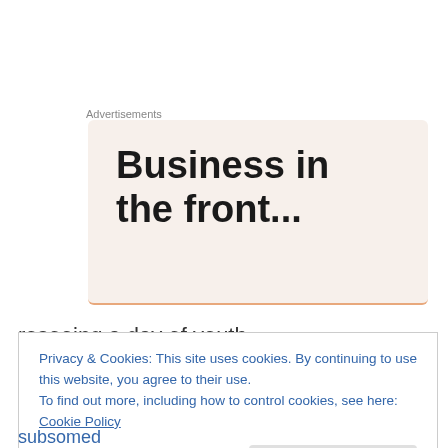Advertisements
[Figure (other): Advertisement banner with bold text reading 'Business in the front...' on a light beige/cream background with an orange bottom border]
reseeing a day of youth
the shade of shadows
in shadows
Privacy & Cookies: This site uses cookies. By continuing to use this website, you agree to their use.
To find out more, including how to control cookies, see here: Cookie Policy
Close and accept
subsomed